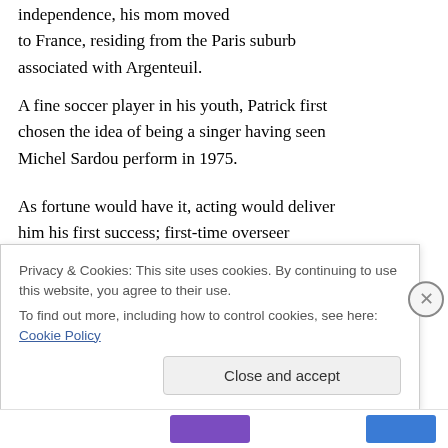independence, his mom moved to France, residing from the Paris suburb associated with Argenteuil.
A fine soccer player in his youth, Patrick first chosen the idea of being a singer having seen Michel Sardou perform in 1975.
As fortune would have it, acting would deliver him his first success; first-time overseer Alexandre Arcady ran an offer seeking a young man which
has a French-Algerian (or “pied-noir” in People
Privacy & Cookies: This site uses cookies. By continuing to use this website, you agree to their use.
To find out more, including how to control cookies, see here: Cookie Policy